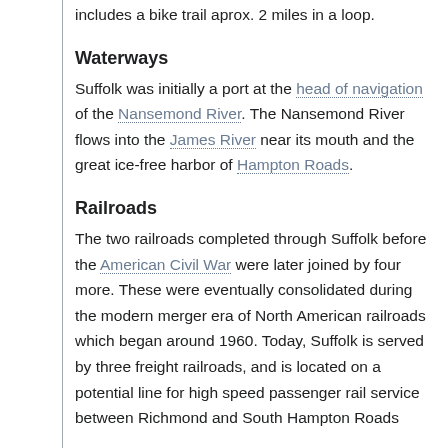includes a bike trail aprox. 2 miles in a loop.
Waterways
Suffolk was initially a port at the head of navigation of the Nansemond River. The Nansemond River flows into the James River near its mouth and the great ice-free harbor of Hampton Roads.
Railroads
The two railroads completed through Suffolk before the American Civil War were later joined by four more. These were eventually consolidated during the modern merger era of North American railroads which began around 1960. Today, Suffolk is served by three freight railroads, and is located on a potential line for high speed passenger rail service between Richmond and South Hampton Roads